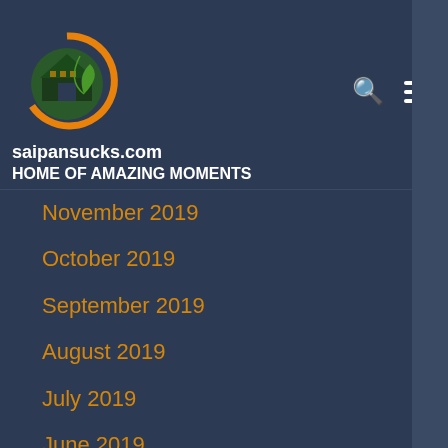[Figure (logo): Circular logo with green house and leaf on orange/green circle background]
saipansucks.com
HOME OF AMAZING MOMENTS
November 2019
October 2019
September 2019
August 2019
July 2019
June 2019
May 2019
April 2019
March 2019
February 2019
January 2019